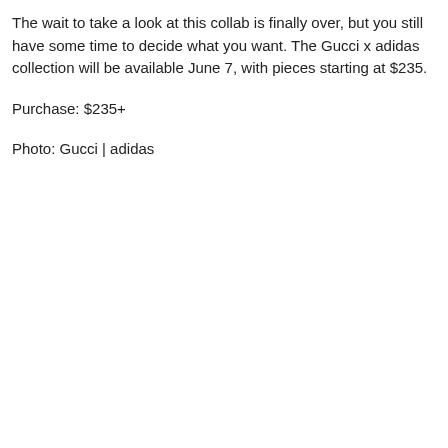The wait to take a look at this collab is finally over, but you still have some time to decide what you want. The Gucci x adidas collection will be available June 7, with pieces starting at $235.
Purchase: $235+
Photo: Gucci | adidas